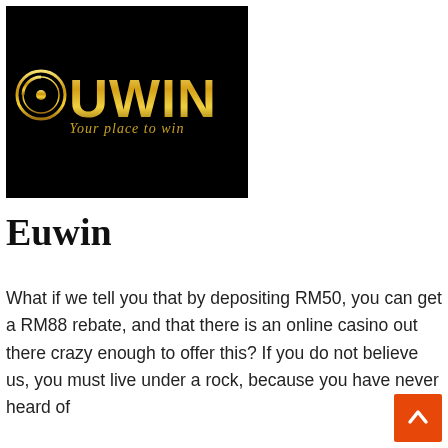[Figure (logo): Euwin logo on black background with gold lettering and tagline 'Your place to win']
Euwin
What if we tell you that by depositing RM50, you can get a RM88 rebate, and that there is an online casino out there crazy enough to offer this? If you do not believe us, you must live under a rock, because you have never heard of